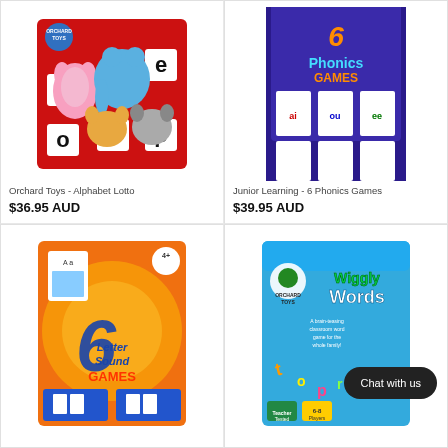[Figure (photo): Orchard Toys Alphabet Lotto game box with colorful animal characters and letter tiles on red background]
Orchard Toys - Alphabet Lotto
$36.95 AUD
[Figure (photo): Junior Learning 6 Phonics Games box with purple and blue design showing various phonics game cards]
Junior Learning - 6 Phonics Games
$39.95 AUD
[Figure (photo): 6 Letter Sound Games orange box with colorful game components and letter-sound activity cards]
[Figure (photo): Orchard Toys Wiggly Words game box with blue background and colorful word game pieces, with Chat with us overlay]
Chat with us